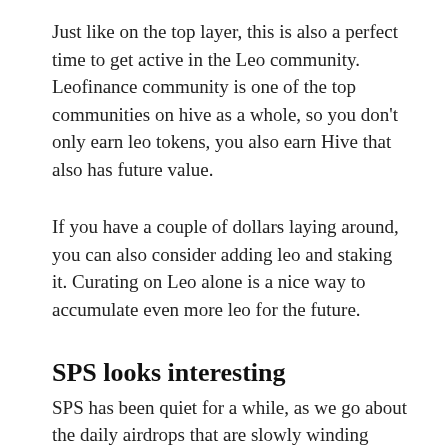Just like on the top layer, this is also a perfect time to get active in the Leo community. Leofinance community is one of the top communities on hive as a whole, so you don't only earn leo tokens, you also earn Hive that also has future value.
If you have a couple of dollars laying around, you can also consider adding leo and staking it. Curating on Leo alone is a nice way to accumulate even more leo for the future.
SPS looks interesting
SPS has been quiet for a while, as we go about the daily airdrops that are slowly winding down. Just like the entire market, SPS has also taking a beating.
At the time of writing, we have SPS token trading at 6 cents. That's extremely cheap for an asset that was...